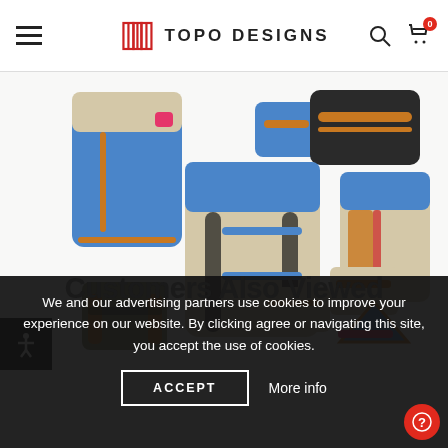TOPO DESIGNS
[Figure (photo): Collection of Topo Designs bags and backpacks in blue, beige/tan, and black colorways arranged on a white background. Items include backpacks, tote bags, duffel bags, pouches, and accessories with orange and pink accents.]
We and our advertising partners use cookies to improve your experience on our website. By clicking agree or navigating this site, you accept the use of cookies.
Customers Also Viewed
ACCEPT
More info